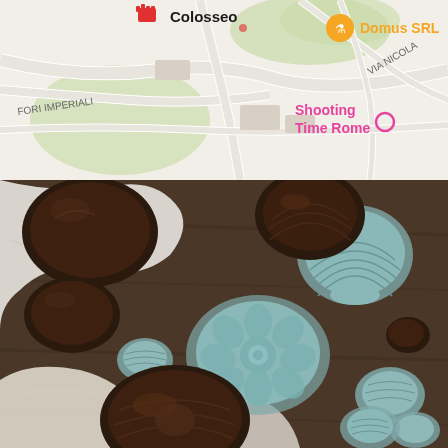[Figure (map): Street map screenshot showing Colosseo area in Rome, Italy. Labels include 'Colosseo' in bold with a red icon, 'FORI IMPERIALI' street label, 'Domus SRL' in orange with a filter icon, 'VIA NICOLA' street label, and 'Shooting Time Rome' in pink with a pink circle marker.]
[Figure (photo): Overhead food photography shot showing dark chocolate bundt cakes and shell-shaped cakes arranged on a white cloth and wooden surface, alongside light blue/mint colored ceramic baking molds of various shapes including shell, flower/bundt, and small round molds.]